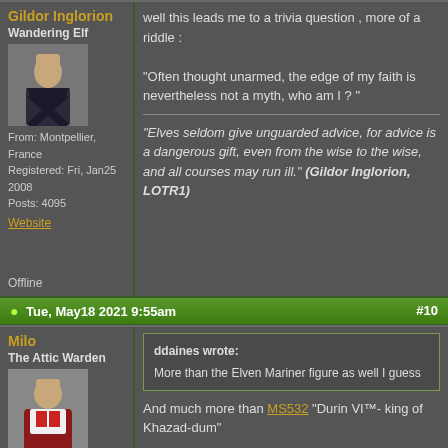Gildor Inglorion
Wandering Elf
[Figure (photo): Avatar image of a fantasy elf figure in dark cloak]
From: Montpellier, France
Registered: Fri, Jan25 2008
Posts: 4095
Website
well this leads me to a trivia question , more of a riddle :

"Often thought unarmed, the edge of my faith is nevertheless not a myth, who am I ?"
"Elves seldom give unguarded advice, for advice is a dangerous gift, even from the wise to the wise, and all courses may run ill." (Gildor Inglorion, LOTR1)
Offline
Tue, May18 2021 9:55am  #10
Milo
The Attic Warden
[Figure (photo): Avatar image of a person in red and white costume]
From: Toulouse, France
Registered: Tue, Mar30 2010
Posts: 4454
ddaines wrote:
More than the Elven Mariner figure as well I guess
And much more than MS532 "Durin VI™- king of Khazad-dum"